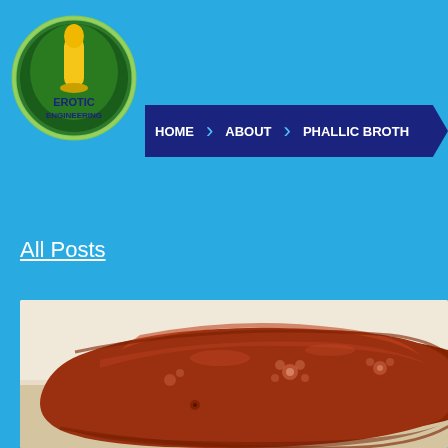[Figure (logo): Erotic Engineering circular logo with green oval border, featuring a yellow phallic symbol design on green background with text 'EROTIC ENGINEERING']
HOME   ABOUT   PHALLIC BROTH...
All Posts
[Figure (photo): Close-up photo of a reddish-brown decorative satin pillow with floral embroidery pattern on a light beige background]